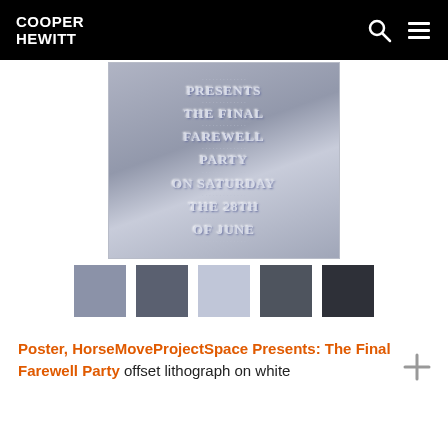COOPER HEWITT
[Figure (photo): A grayscale offset lithograph poster reading 'PRESENTS THE FINAL FAREWELL PARTY ON SATURDAY THE 28TH OF JUNE' with textured, embossed lettering on a light background.]
[Figure (infographic): Five color swatches extracted from the poster image: medium gray-blue, dark gray-blue, light blue-gray, dark gray, near-black gray.]
Poster, HorseMoveProjectSpace Presents: The Final Farewell Party offset lithograph on white